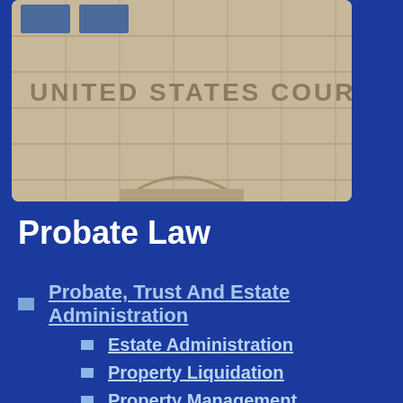[Figure (photo): A photograph of the exterior facade of a United States Courthouse building, showing stone architecture with the words 'UNITED STATES COURTHOUSE' carved into it.]
Probate Law
Probate, Trust And Estate Administration
Estate Administration
Property Liquidation
Property Management
Trusteeships
Conservatorships
Probate Litigation
Will Contests